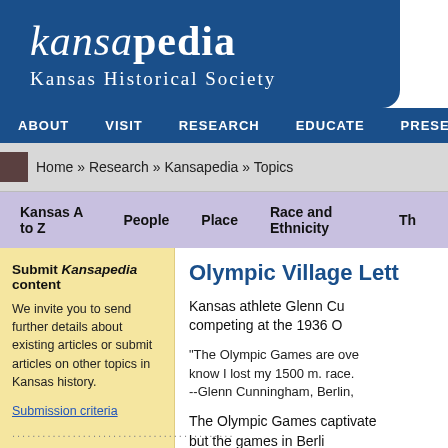kansapedia - Kansas Historical Society
ABOUT   VISIT   RESEARCH   EDUCATE   PRESERVE
Home » Research » Kansapedia » Topics
Kansas A to Z   People   Place   Race and Ethnicity   Th
Submit Kansapedia content
We invite you to send further details about existing articles or submit articles on other topics in Kansas history.
Submission criteria
Olympic Village Lett
Kansas athlete Glenn Cu competing at the 1936 O
"The Olympic Games are ove know I lost my 1500 m. race. --Glenn Cunningham, Berlin,
The Olympic Games captivate but the games in Berli